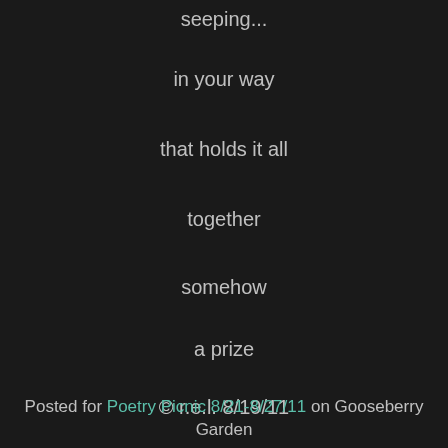seeping...
in your way
that holds it all
together
somehow
a prize
© r.e.l. 8/19/11
Posted for Poetry Picnic 8/21-8/27/11 on Gooseberry Garden